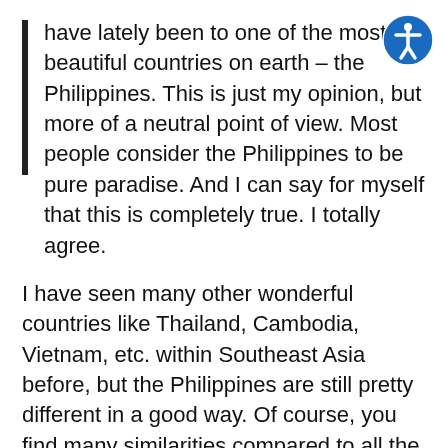have lately been to one of the most beautiful countries on earth – the Philippines. This is just my opinion, but more of a neutral point of view. Most people consider the Philippines to be pure paradise. And I can say for myself that this is completely true. I totally agree.
I have seen many other wonderful countries like Thailand, Cambodia, Vietnam, etc. within Southeast Asia before, but the Philippines are still pretty different in a good way. Of course, you find many similarities compared to all the other Southeast Asian countries – the traffic is crazy, some places are not really developed in terms of infrastructure, different habits than most western people might be used to.